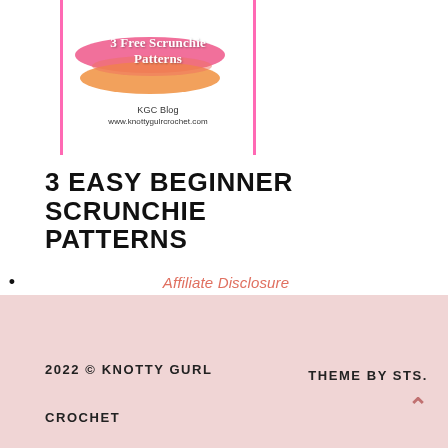[Figure (illustration): Blog post card image with pink side borders, colorful brush stroke background with text '3 Free Scrunchie Patterns', KGC Blog, www.knottygulrcrochet.com]
3 EASY BEGINNER SCRUNCHIE PATTERNS
• Affiliate Disclosure
2022 © KNOTTY GURL CROCHET    THEME BY STS.